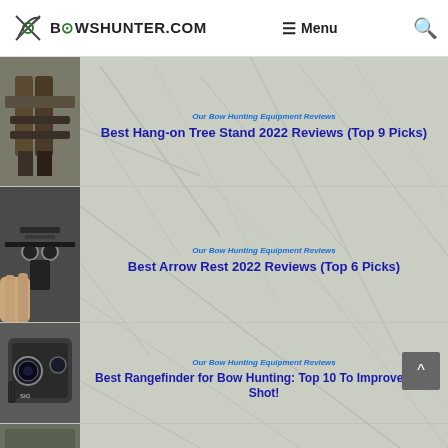BOWSHUNTER.COM | Menu
[Figure (photo): Hang-on tree stand thumbnail photo]
Our Bow Hunting Equipment Reviews
Best Hang-on Tree Stand 2022 Reviews (Top 9 Picks)
[Figure (photo): Arrow rest close-up thumbnail photo]
Our Bow Hunting Equipment Reviews
Best Arrow Rest 2022 Reviews (Top 6 Picks)
[Figure (photo): Rangefinder device thumbnail photo]
Our Bow Hunting Equipment Reviews
Best Rangefinder for Bow Hunting: Top 10 To Improve Your Shot!
[Figure (photo): Partial thumbnail for next article]
Beginner Bowhunting , Bow School , chapter three , Hunting School
Beginner Bow Hunting: Everything Y...